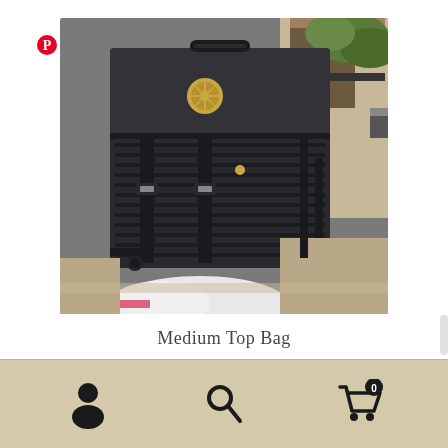[Figure (photo): A black motorcycle saddlebag/top bag mounted on a motorcycle. The bag has MOLLE webbing, buckle straps, and a gold circular logo badge. It is made of dark gray/black canvas material. Another beige/tan bag is partially visible in the upper right background.]
Medium Top Bag
[Figure (other): Bottom navigation bar with tan/beige background containing three icons: a user/person icon on the left, a search/magnifying glass icon in the center, and a shopping cart icon with a badge showing '0' on the right.]